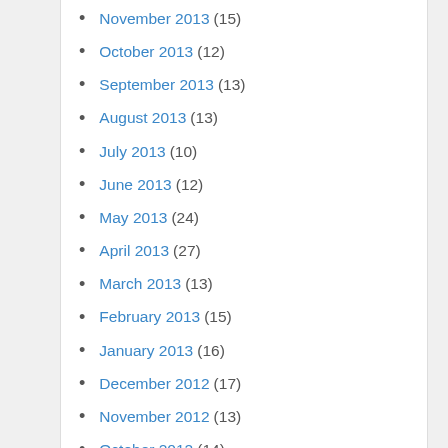November 2013 (15)
October 2013 (12)
September 2013 (13)
August 2013 (13)
July 2013 (10)
June 2013 (12)
May 2013 (24)
April 2013 (27)
March 2013 (13)
February 2013 (15)
January 2013 (16)
December 2012 (17)
November 2012 (13)
October 2012 (14)
September 2012 (27)
August 2012 (33)
July 2012 (21)
June 2012 (17)